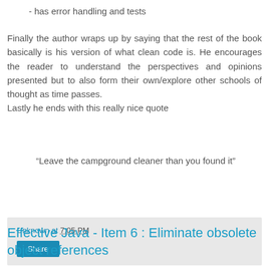- has error handling and tests
Finally the author wraps up by saying that the rest of the book basically is his version of what clean code is. He encourages the reader to understand the perspectives and opinions presented but to also form their own/explore other schools of thought as time passes.
Lastly he ends with this really nice quote
“Leave the campground cleaner than you found it”
Unknown at 7:05 PM
Share
Effective Java - Item 6 : Eliminate obsolete object references